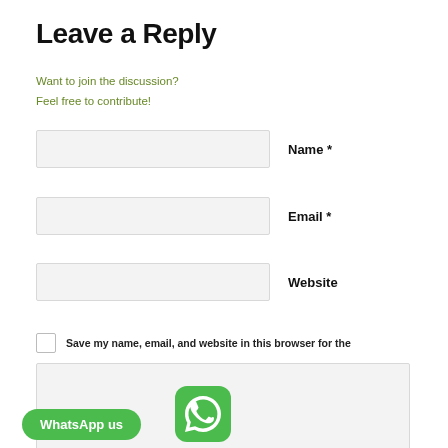Leave a Reply
Want to join the discussion?
Feel free to contribute!
Name *
Email *
Website
Save my name, email, and website in this browser for the
[Figure (screenshot): WhatsApp us button with green rounded rectangle and WhatsApp logo icon]